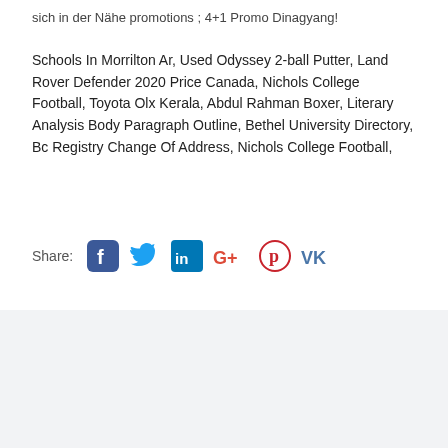sich in der Nähe promotions ; 4+1 Promo Dinagyang!
Schools In Morrilton Ar, Used Odyssey 2-ball Putter, Land Rover Defender 2020 Price Canada, Nichols College Football, Toyota Olx Kerala, Abdul Rahman Boxer, Literary Analysis Body Paragraph Outline, Bethel University Directory, Bc Registry Change Of Address, Nichols College Football,
[Figure (infographic): Social share buttons row: Facebook, Twitter, LinkedIn, Google+, Pinterest, VK icons]
Leave a Reply
Your email address will not be published.
Your Full Name